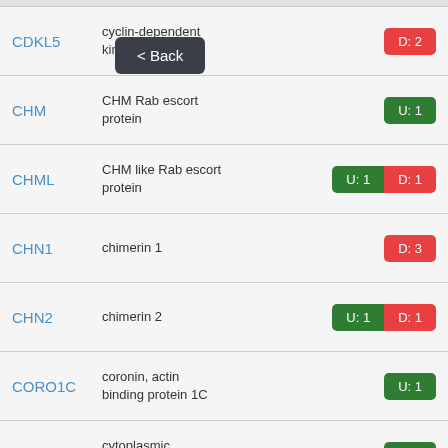CDKL5 | cyclin-dependent kinase-like 5 | D: 2
CHM | CHM Rab escort protein | U: 1
CHML | CHM like Rab escort protein | U: 1  D: 1
CHN1 | chimerin 1 | D: 3
CHN2 | chimerin 2 | U: 1  D: 1
CORO1C | coronin, actin binding protein 1C | U: 1
CPEB2 | cytoplasmic polyadenylation | U: 4